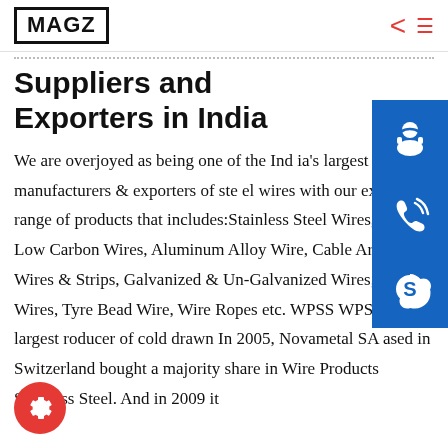MAGZ
Suppliers and Exporters in India
We are overjoyed as being one of the India's largest manufacturers & exporters of steel wires with our expansive range of products that includes:Stainless Steel Wires, High & Low Carbon Wires, Aluminum Alloy Wire, Cable Armoring Wires & Strips, Galvanized & Un-Galvanized Wires, Profile Wires, Tyre Bead Wire, Wire Ropes etc. WPSS WPSS is the largest producer of cold drawn In 2005, Novametal SA based in Switzerland bought a majority share in Wire Products Stainless Steel. And in 2009 it